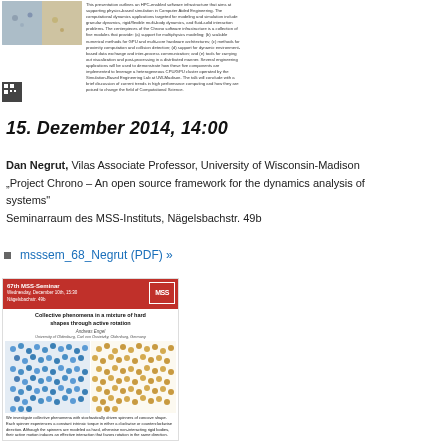[Figure (photo): Top portion showing a seminar slide with images of simulation/granular matter]
This presentation outlines an HPC-enabled software infrastructure that aims at supporting physics-based simulation in Computer Aided Engineering. The computational dynamics applications targeted for modeling and simulation include granular dynamics, rigid/flexible multi-body dynamics, and fluid-solid interaction problems. The centerpieces of the Chrono software infrastructure is a collection of five modules that provide: (a) support for multiphysics modeling; (b) scalable numerical methods for GPU and multi-core hardware architectures; (c) methods for proximity computation and collision detection; (d) support for dynamic environment-based data exchange and inter-process communication; and (e) tools for carrying out visualization and post-processing in a distributed manner. Several engineering applications will be used to demonstrate how these five components are implemented to leverage a heterogeneous CPU/GPU cluster operated by the Simulation-Based Engineering Lab at UW-Madison. The talk will conclude with a brief discussion of current trends in high performance computing and how they are poised to change the field of Computational Science.
15. Dezember 2014, 14:00
Dan Negrut, Vilas Associate Professor, University of Wisconsin-Madison
„Project Chrono – An open source framework for the dynamics analysis of systems"
Seminarraum des MSS-Instituts, Nägelsbachstr. 49b
msssem_68_Negrut (PDF) »
[Figure (photo): 67th MSS-Seminar card showing collective phenomena in a mixture of hard shapes through active rotation - includes red header, title, author, and particle simulation image]
We investigate collective phenomena with stochastically driven spinners of concave shape. Each spinner experiences a constant intrinsic torque in either a clockwise or counterclockwise direction. Although the spinners are modeled as hard, otherwise non-interacting rigid bodies, their active motion induces an effective interaction that favors rotation in the same direction.